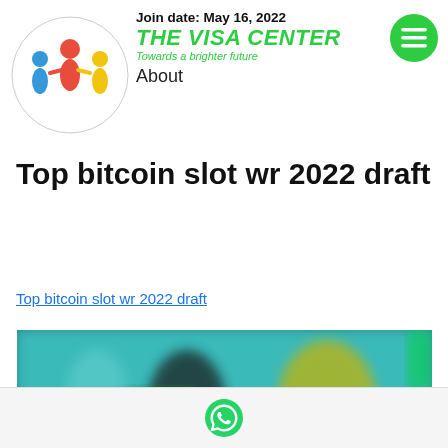Join date: May 16, 2022 | THE VISA CENTER | Towards a brighter future | About
Top bitcoin slot wr 2022 draft
Top bitcoin slot wr 2022 draft
[Figure (photo): Blurred screenshot of a gaming/sports interface with dark teal background, figures in yellow and other colors]
[Figure (logo): WhatsApp icon on light gray background at bottom]